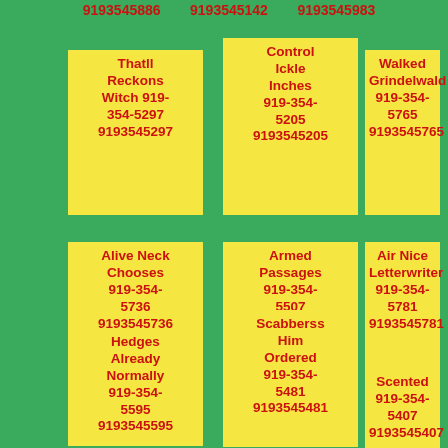9193545886  9193545142  9193545983
Thatll Reckons Witch 919-354-5297 9193545297
Control Ickle Inches 919-354-5205 9193545205
Walked Grindelwald 919-354-5765 9193545765
Alive Neck Chooses 919-354-5736 9193545736
Armed Passages 919-354-5507 9193545507
Air Nice Letterwriter 919-354-5781 9193545781
Hedges Already Normally 919-354-5595 9193545595
Scabberss Him Ordered 919-354-5481 9193545481
Scented 919-354-5407 9193545407